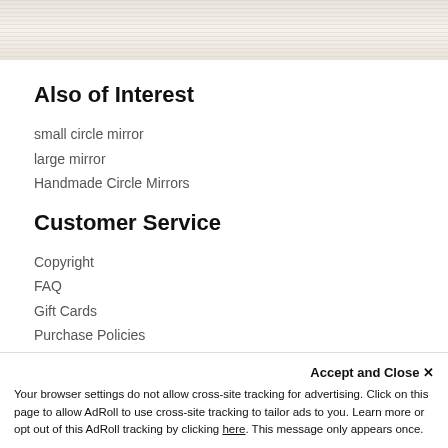[Figure (photo): Decorative banner image with linen/wood texture in cream and beige tones]
Also of Interest
small circle mirror
large mirror
Handmade Circle Mirrors
Customer Service
Copyright
FAQ
Gift Cards
Purchase Policies
Retail Locator
Accept and Close ✕
Your browser settings do not allow cross-site tracking for advertising. Click on this page to allow AdRoll to use cross-site tracking to tailor ads to you. Learn more or opt out of this AdRoll tracking by clicking here. This message only appears once.